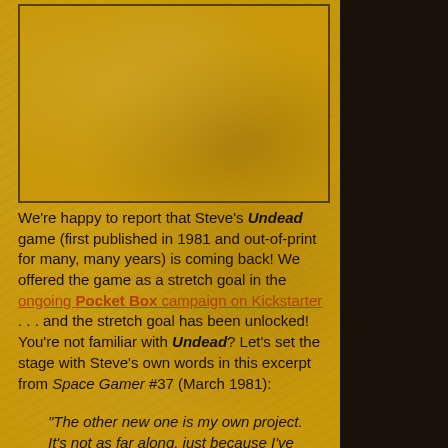[Figure (photo): Gold-textured image placeholder box with border]
We're happy to report that Steve's Undead game (first published in 1981 and out-of-print for many, many years) is coming back! We offered the game as a stretch goal in the ongoing Pocket Box campaign on Kickstarter . . . and the stretch goal has been unlocked! You're not familiar with Undead? Let's set the stage with Steve's own words in this excerpt from Space Gamer #37 (March 1981):
"The other new one is my own project. It's not as far along, just because I've been getting CAR WARS ready for the playtesters . . . but it's getting there. This one doesn't have a name yet – but it